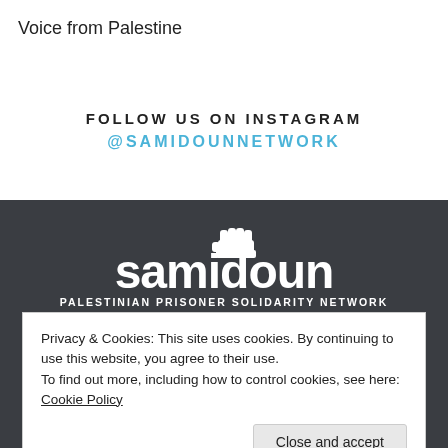Voice from Palestine
FOLLOW US ON INSTAGRAM
@SAMIDOUNNETWORK
[Figure (logo): Samidoun Palestinian Prisoner Solidarity Network logo — white text on dark background with raised fist icon]
Privacy & Cookies: This site uses cookies. By continuing to use this website, you agree to their use.
To find out more, including how to control cookies, see here: Cookie Policy
Close and accept